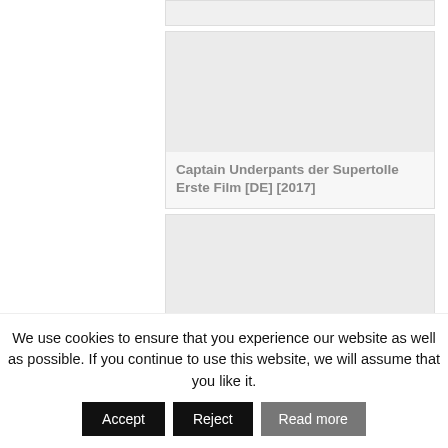[Figure (screenshot): Partial movie card (top cut off) at the very top of the page]
Captain Underpants der Supertolle Erste Film [DE] [2017]
Chicken Run Hennen Rennen [DE] [2000]
Die Abenteuer von Wolfsblut [DE] [...]
We use cookies to ensure that you experience our website as well as possible. If you continue to use this website, we will assume that you like it.
Accept
Reject
Read more